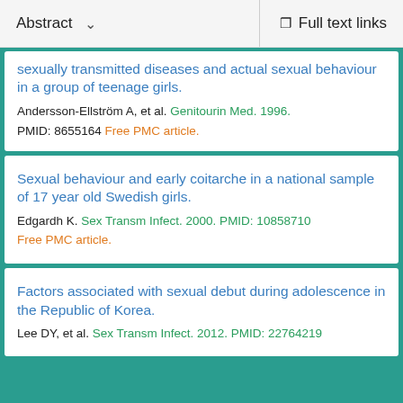Abstract  ∨    Full text links
sexually transmitted diseases and actual sexual behaviour in a group of teenage girls.
Andersson-Ellström A, et al. Genitourin Med. 1996. PMID: 8655164 Free PMC article.
Sexual behaviour and early coitarche in a national sample of 17 year old Swedish girls.
Edgardh K. Sex Transm Infect. 2000. PMID: 10858710 Free PMC article.
Factors associated with sexual debut during adolescence in the Republic of Korea.
Lee DY, et al. Sex Transm Infect. 2012. PMID: 22764219